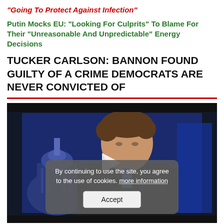“Going To Protect Against Infection”
Putin Mocks EU: “Looking For Culprits” To Blame For Their “Unreasonable And Unpredictable” Energy Decisions
TUCKER CARLSON: BANNON FOUND GUILTY OF A CRIME DEMOCRATS ARE NEVER CONVICTED OF
[Figure (screenshot): Video thumbnail showing a man (Tucker Carlson) in front of a blue background with the US Capitol dome visible. A video play button is centered on the image. A cookie consent overlay reads: 'By continuing to use the site, you agree to the use of cookies. more information' with an Accept button.]